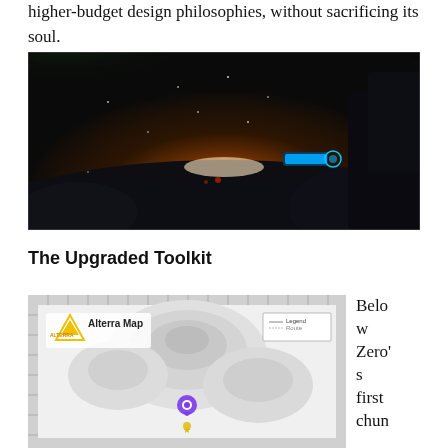higher-budget design philosophies, without sacrificing its soul.
[Figure (screenshot): Dark sci-fi game screenshot showing a rocky alien surface with glowing blue spacecraft elements, orange/red atmospheric glow in the background and green lighting in upper area, stars visible.]
The Upgraded Toolkit
[Figure (map): Alterra Map showing a white topographic-style map with mountain terrain features, a purple location pin marker near center, and the Alterra logo (triangle with A) in upper left. A legend box appears in upper right.]
Below Zero's first chun